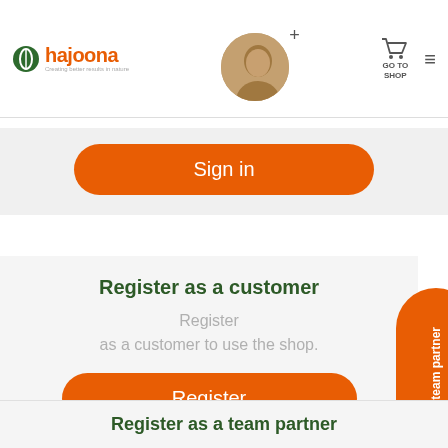[Figure (logo): Hajoona logo with green leaf icon and orange text]
[Figure (photo): Circular avatar photo of a person with a plus icon overlay]
[Figure (illustration): Shopping cart icon with GO TO SHOP text below]
Sign in
Register as a customer
Register as a customer to use the shop.
Register
Register as a team partner
Register as a team partner